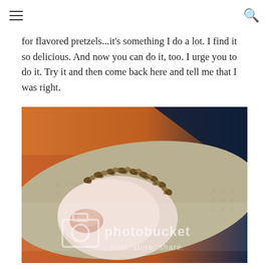navigation bar with hamburger menu and search icon
for flavored pretzels...it's something I do a lot. I find it so delicious. And now you can do it, too. I urge you to do it. Try it and then come back here and tell me that I was right.
[Figure (photo): Close-up photo of a pretzel or baked good coated with nuts/toppings on a baking mat, with a Photobucket watermark overlay reading 'host. store. share.']